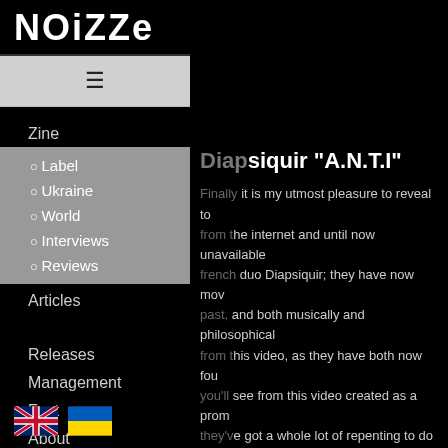NOiZZe
☰
Zine
Label
Ukraine
World
Interviews
Reviews
Articles
Releases
Management
Fest
About
Diapsiquir "A.N.T.I"
Finally it is my utmost pleasure to reveal to from the internet and until now unavailable french duo Diapsiquir; they have now mov past, and both musically and philosophical from this video, as they have both now fou you'll see from this video created as a prom they've got a whole lot of repenting to do b